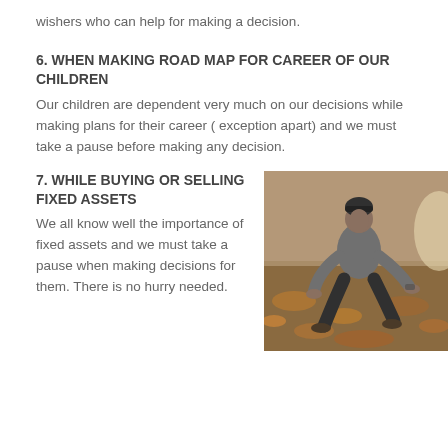wishers who can help for making a decision.
6. WHEN MAKING ROAD MAP FOR CAREER OF OUR CHILDREN
Our children are dependent very much on our decisions while making plans for their career ( exception apart) and we must take a pause before making any decision.
7. WHILE BUYING OR SELLING FIXED ASSETS
We all know well the importance of fixed assets and we must take a pause when making decisions for them. There is no hurry needed.
[Figure (photo): A man wearing a black beanie and grey long-sleeve shirt crouching down among autumn leaves on the ground.]